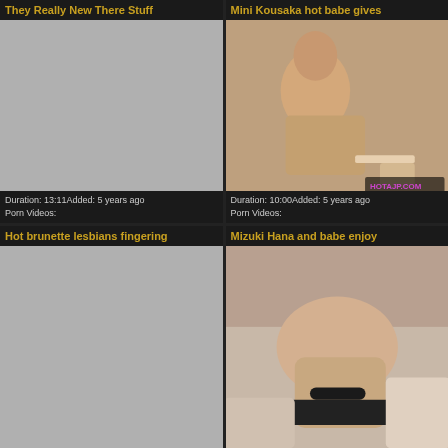They Really New There Stuff
[Figure (photo): Gray placeholder thumbnail]
Duration: 13:11Added: 5 years ago
Porn Videos:
Mini Kousaka hot babe gives
[Figure (photo): Photo of woman on bed, HOTAJP.COM watermark]
Duration: 10:00Added: 5 years ago
Porn Videos:
Hot brunette lesbians fingering
[Figure (photo): Gray placeholder thumbnail]
Mizuki Hana and babe enjoy
[Figure (photo): Photo of woman from behind on couch]